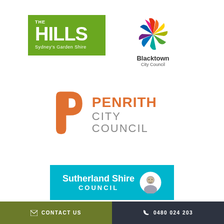[Figure (logo): The Hills Sydney's Garden Shire council logo — green rectangle with white bold text 'THE HILLS' and 'Sydney's Garden Shire']
[Figure (logo): Blacktown City Council logo — colorful starburst/pinwheel shape with text 'Blacktown City Council' below]
[Figure (logo): Penrith City Council logo — orange speech-bubble P icon with orange text 'PENRITH' and grey text 'CITY COUNCIL']
[Figure (logo): Sutherland Shire Council logo — teal/cyan rectangle with white text 'Sutherland Shire COUNCIL' and circular portrait emblem on the right]
✉ CONTACT US   📞 0480 024 203